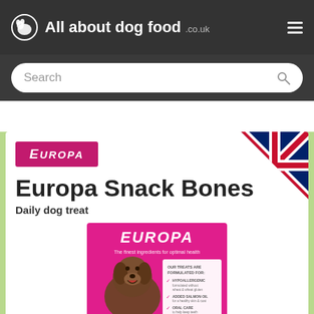All about dog food .co.uk
[Figure (screenshot): Website screenshot of All about dog food .co.uk showing product page for Europa Snack Bones daily dog treat, with Europa brand logo, UK flag corner badge, and a product packaging image showing a brown Labrador dog on a pink background with Europa branding and text 'The finest ingredients for optimal health']
Europa Snack Bones
Daily dog treat